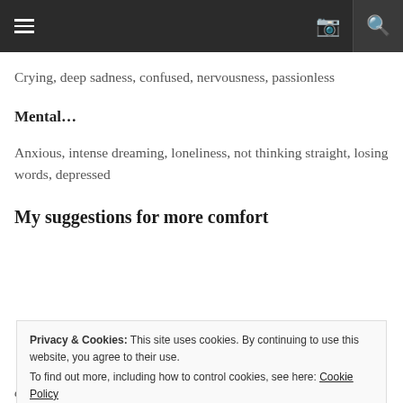≡  📷  🔍
Crying, deep sadness, confused, nervousness, passionless
Mental…
Anxious, intense dreaming, loneliness, not thinking straight, losing words, depressed
My suggestions for more comfort
Privacy & Cookies: This site uses cookies. By continuing to use this website, you agree to their use.
To find out more, including how to control cookies, see here: Cookie Policy
Close and accept
drink plenty of fresh water, moderate use of